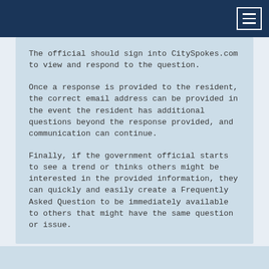The official should sign into CitySpokes.com to view and respond to the question.
Once a response is provided to the resident, the correct email address can be provided in the event the resident has additional questions beyond the response provided, and communication can continue.
Finally, if the government official starts to see a trend or thinks others might be interested in the provided information, they can quickly and easily create a Frequently Asked Question to be immediately available to others that might have the same question or issue.
Show Me How